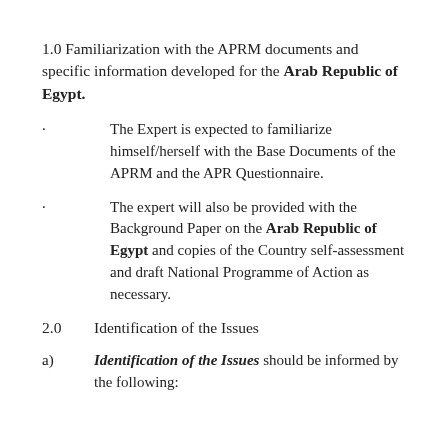1.0 Familiarization with the APRM documents and specific information developed for the Arab Republic of Egypt.
The Expert is expected to familiarize himself/herself with the Base Documents of the APRM and the APR Questionnaire.
The expert will also be provided with the Background Paper on the Arab Republic of Egypt and copies of the Country self-assessment and draft National Programme of Action as necessary.
2.0    Identification of the Issues
a)    Identification of the Issues should be informed by the following: